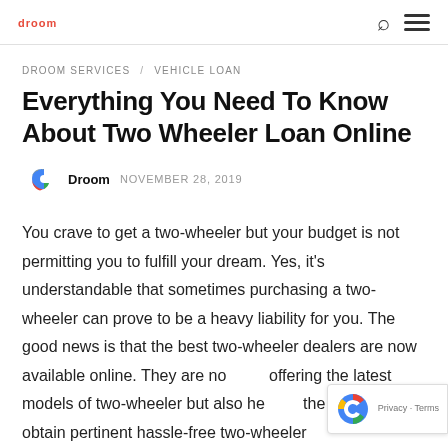droom
DROOM SERVICES / VEHICLE LOAN
Everything You Need To Know About Two Wheeler Loan Online
Droom   NOVEMBER 28, 2019
You crave to get a two-wheeler but your budget is not permitting you to fulfill your dream. Yes, it’s understandable that sometimes purchasing a two-wheeler can prove to be a heavy liability for you. The good news is that the best two-wheeler dealers are now available online. They are not only offering the latest models of two-wheeler but also helping the buyers to obtain pertinent hassle-free two-wheeler